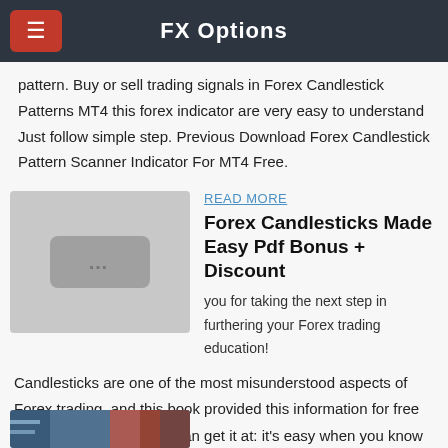FX Options
pattern. Buy or sell trading signals in Forex Candlestick Patterns MT4 this forex indicator are very easy to understand Just follow simple step. Previous Download Forex Candlestick Pattern Scanner Indicator For MT4 Free.
[Figure (photo): Placeholder image thumbnail with three dots]
READ MORE
Forex Candlesticks Made Easy Pdf Bonus + Discount
you for taking the next step in furthering your Forex trading education!
Candlesticks are one of the most misunderstood aspects of Forex trading, and this book provided this information for free on my website, and you can get it at: it's easy when you know what to look for, right? ☺
[Figure (screenshot): Partial screenshot of a trading chart at the bottom of the page]